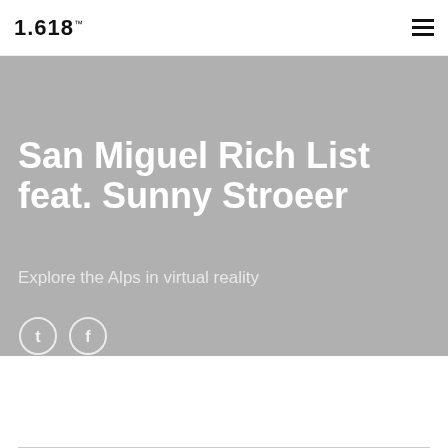1.618™
San Miguel Rich List feat. Sunny Stroeer
Explore the Alps in virtual reality
[Figure (other): Social media icons: Twitter (bird) and Facebook (f) as outlined circles on gray hero background]